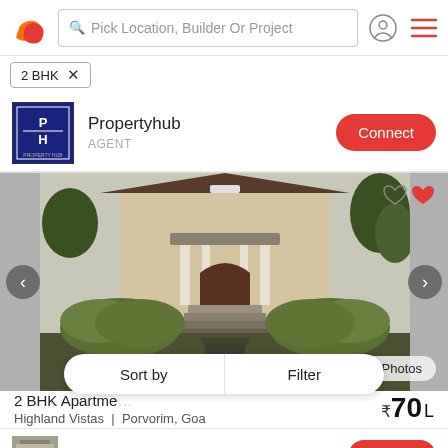[Figure (screenshot): App header with logo, search bar 'Pick Location, Builder Or Project', user icon, and hamburger menu]
2 BHK ✕
[Figure (logo): Propertyhub agent logo — dark blue square with P H initials]
Propertyhub
AGENT
Connect
[Figure (photo): Property photo of a house with colonial architecture, steps at entrance, surrounded by green hedges and trees]
+6 All Photos
Sort by
Filter
2 BHK Apartment
₹70 L
Highland Vistas  |  Porvorim, Goa
[Figure (photo): Small thumbnail of DV Realty agent building]
DV Realty
Connect